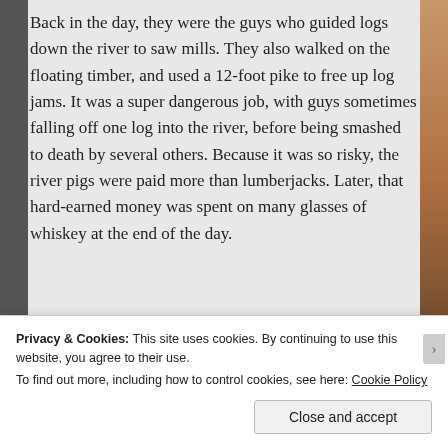Back in the day, they were the guys who guided logs down the river to saw mills. They also walked on the floating timber, and used a 12-foot pike to free up log jams. It was a super dangerous job, with guys sometimes falling off one log into the river, before being smashed to death by several others. Because it was so risky, the river pigs were paid more than lumberjacks. Later, that hard-earned money was spent on many glasses of whiskey at the end of the day.
[Figure (photo): Partial view of a photo showing what appears to be food items on a surface, partially visible at the bottom of the article]
Privacy & Cookies: This site uses cookies. By continuing to use this website, you agree to their use.
To find out more, including how to control cookies, see here: Cookie Policy